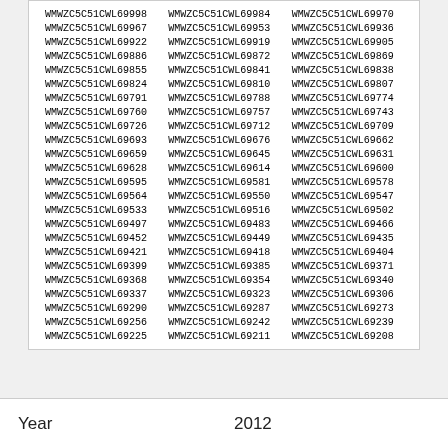| WMWZC5C51CWL69998 | WMWZC5C51CWL69984 | WMWZC5C51CWL69970 |
| WMWZC5C51CWL69967 | WMWZC5C51CWL69953 | WMWZC5C51CWL69936 |
| WMWZC5C51CWL69922 | WMWZC5C51CWL69919 | WMWZC5C51CWL69905 |
| WMWZC5C51CWL69886 | WMWZC5C51CWL69872 | WMWZC5C51CWL69869 |
| WMWZC5C51CWL69855 | WMWZC5C51CWL69841 | WMWZC5C51CWL69838 |
| WMWZC5C51CWL69824 | WMWZC5C51CWL69810 | WMWZC5C51CWL69807 |
| WMWZC5C51CWL69791 | WMWZC5C51CWL69788 | WMWZC5C51CWL69774 |
| WMWZC5C51CWL69760 | WMWZC5C51CWL69757 | WMWZC5C51CWL69743 |
| WMWZC5C51CWL69726 | WMWZC5C51CWL69712 | WMWZC5C51CWL69709 |
| WMWZC5C51CWL69693 | WMWZC5C51CWL69676 | WMWZC5C51CWL69662 |
| WMWZC5C51CWL69659 | WMWZC5C51CWL69645 | WMWZC5C51CWL69631 |
| WMWZC5C51CWL69628 | WMWZC5C51CWL69614 | WMWZC5C51CWL69600 |
| WMWZC5C51CWL69595 | WMWZC5C51CWL69581 | WMWZC5C51CWL69578 |
| WMWZC5C51CWL69564 | WMWZC5C51CWL69550 | WMWZC5C51CWL69547 |
| WMWZC5C51CWL69533 | WMWZC5C51CWL69516 | WMWZC5C51CWL69502 |
| WMWZC5C51CWL69497 | WMWZC5C51CWL69483 | WMWZC5C51CWL69466 |
| WMWZC5C51CWL69452 | WMWZC5C51CWL69449 | WMWZC5C51CWL69435 |
| WMWZC5C51CWL69421 | WMWZC5C51CWL69418 | WMWZC5C51CWL69404 |
| WMWZC5C51CWL69399 | WMWZC5C51CWL69385 | WMWZC5C51CWL69371 |
| WMWZC5C51CWL69368 | WMWZC5C51CWL69354 | WMWZC5C51CWL69340 |
| WMWZC5C51CWL69337 | WMWZC5C51CWL69323 | WMWZC5C51CWL69306 |
| WMWZC5C51CWL69290 | WMWZC5C51CWL69287 | WMWZC5C51CWL69273 |
| WMWZC5C51CWL69256 | WMWZC5C51CWL69242 | WMWZC5C51CWL69239 |
| WMWZC5C51CWL69225 | WMWZC5C51CWL69211 | WMWZC5C51CWL69208 |
Year  2012